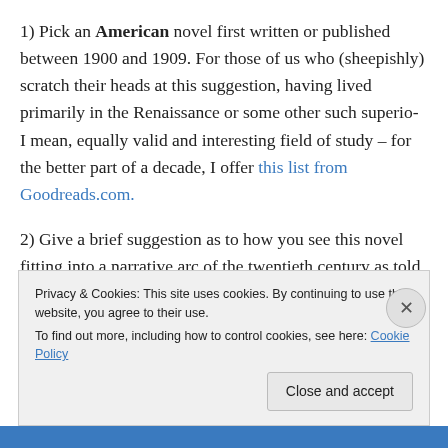1) Pick an American novel first written or published between 1900 and 1909. For those of us who (sheepishly) scratch their heads at this suggestion, having lived primarily in the Renaissance or some other such superio- I mean, equally valid and interesting field of study – for the better part of a decade, I offer this list from Goodreads.com.
2) Give a brief suggestion as to how you see this novel fitting into a narrative arc of the twentieth century as told through the novel. Evolution of form? History of social /
Privacy & Cookies: This site uses cookies. By continuing to use this website, you agree to their use. To find out more, including how to control cookies, see here: Cookie Policy